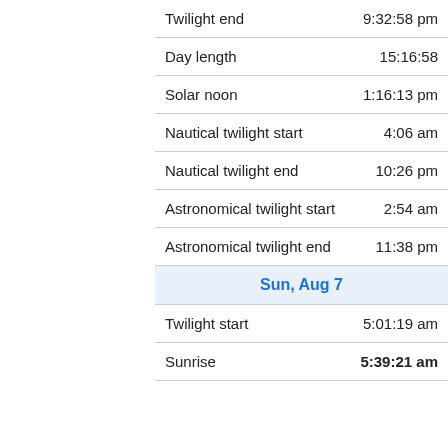|  |  |
| --- | --- |
| Twilight end | 9:32:58 pm |
| Day length | 15:16:58 |
| Solar noon | 1:16:13 pm |
| Nautical twilight start | 4:06 am |
| Nautical twilight end | 10:26 pm |
| Astronomical twilight start | 2:54 am |
| Astronomical twilight end | 11:38 pm |
| Sun, Aug 7 |  |
| Twilight start | 5:01:19 am |
| Sunrise | 5:39:21 am |
[Figure (other): CVS Pharmacy advertisement banner: 'Visit A CVS Near You' with CVS logo and directional arrow icon]